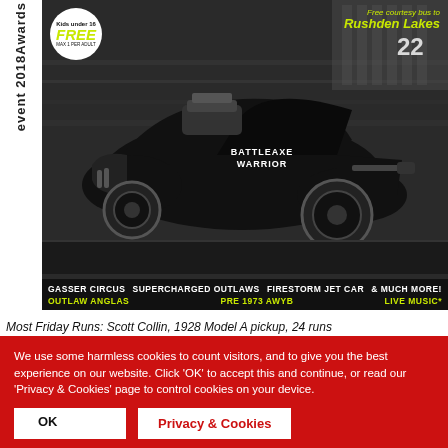event 2018 Awards
[Figure (photo): Black vintage drag racing car (Battleaxe Warrior) racing on a track. Event poster with Kids under 16 FREE badge, free courtesy bus to Rushden Lakes text, and bottom bar listing: GASSER CIRCUS, SUPERCHARGED OUTLAWS, FIRESTORM JET CAR, & MUCH MORE!, OUTLAW ANGLAS, PRE 1973 AWYB, LIVE MUSIC*]
Most Friday Runs: Scott Collin, 1928 Model A pickup, 24 runs
We use some harmless cookies to count visitors, and to give you the best experience on our website. Click 'OK' to accept this and continue, or read our 'Privacy & Cookies' page to control cookies on your device.
OK
Privacy & Cookies